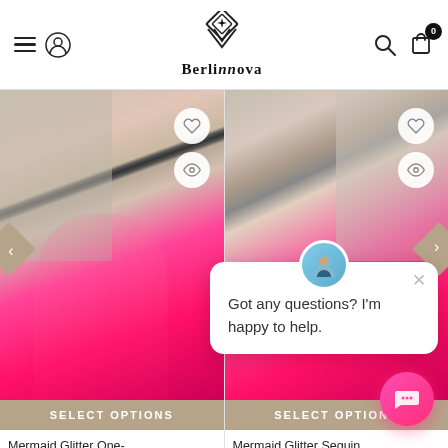BerlinNova
[Figure (photo): Women wearing hot pink sequin mermaid one-shoulder backless prom dress, taking mirror selfie in boutique]
SELECT OPTIONS
Mermaid Glitter One-Shoulder Backless Prom...
[Figure (photo): Women wearing hot pink sequin mermaid one-shoulder backless prom dress, taking mirror selfie in boutique]
SELECT OPTIONS
Mermaid Glitter Sequin One-Shoulder Backless...
Got any questions? I'm happy to help.